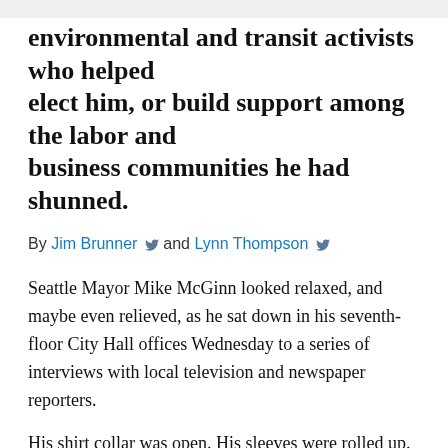environmental and transit activists who helped elect him, or build support among the labor and business communities he had shunned.
By Jim Brunner and Lynn Thompson
Seattle Mayor Mike McGinn looked relaxed, and maybe even relieved, as he sat down in his seventh-floor City Hall offices Wednesday to a series of interviews with local television and newspaper reporters.
His shirt collar was open. His sleeves were rolled up. And he was on message.
He had promised to ask the hard questions about the